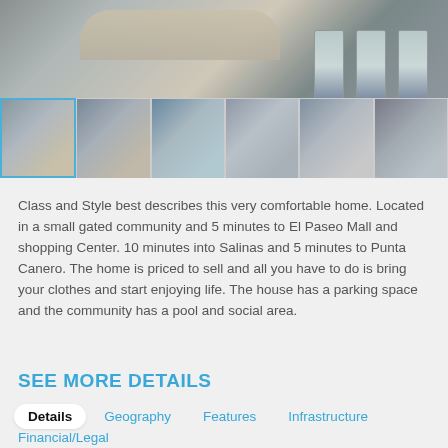[Figure (photo): Interior kitchen photo of a modern furnished home with bar counter, stools, and cabinetry. Below is a row of 6 thumbnail images of various interior rooms. First thumbnail is selected with a blue border. Image labeled IMG_4465 (800x533).jpg]
Class and Style best describes this very comfortable home. Located in a small gated community and 5 minutes to El Paseo Mall and shopping Center. 10 minutes into Salinas and 5 minutes to Punta Canero. The home is priced to sell and all you have to do is bring your clothes and start enjoying life. The house has a parking space and the community has a pool and social area.
SEE MORE DETAILS
Details   Geography   Features   Infrastructure
Financial/Legal